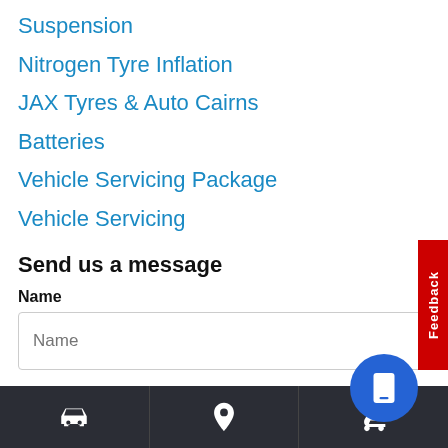Suspension
Nitrogen Tyre Inflation
JAX Tyres & Auto Cairns
Batteries
Vehicle Servicing Package
Vehicle Servicing
Send us a message
Name
Email
[Figure (screenshot): Feedback tab on right side (red vertical tab with white text 'Feedback')]
[Figure (screenshot): Blue circular button with phone/tablet icon]
[Figure (screenshot): Dark bottom navigation bar with car icon, location pin icon, and shopping cart icon]